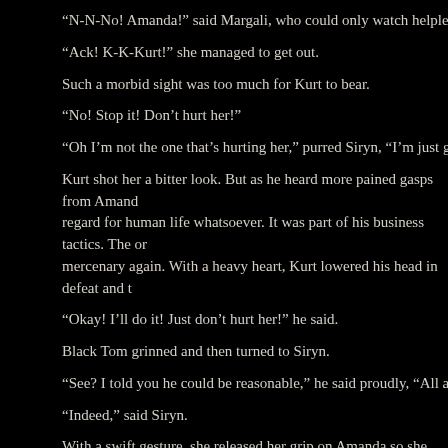“N-N-No! Amanda!” said Margali, who could only watch helplessly.
“Ack! K-K-Kurt!” she managed to get out.
Such a morbid sight was too much for Kurt to bear.
“No! Stop it! Don’t hurt her!”
“Oh I’m not the one that’s hurting her,” purred Siryn, “I’m just giving her a
Kurt shot her a bitter look. But as he heard more pained gasps from Amanda… regard for human life whatsoever. It was part of his business tactics. The on… mercenary again. With a heavy heart, Kurt lowered his head in defeat and t…
“Okay! I’ll do it! Just don’t hurt her!” he said.
Black Tom grinned and then turned to Siryn.
“See? I told you he could be reasonable,” he said proudly, “All anybody ev…
“Indeed,” said Siryn.
With a swift gesture, she released her grip on Amanda so she stopped choki… move. Siryn kept her and her mother paralyzing hold on her, but they had e…
“Kurt…” said Margali.
“Don’t do it,” Amanda urged him.
“Oh come on, don’t…” said Sir…